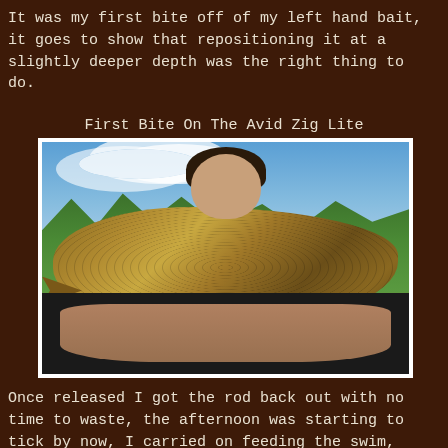It was my first bite off of my left hand bait, it goes to show that repositioning it at a slightly deeper depth was the right thing to do.
First Bite On The Avid Zig Lite
[Figure (photo): A person holding up a large common carp fish in front of a lake and green trees with blue sky in the background.]
Once released I got the rod back out with no time to waste, the afternoon was starting to tick by now, I carried on feeding the swim, half expecting to get another quick bite. Nothing materialised and it got to the point where I was starting to feel pretty weathered from all the casting in and out.